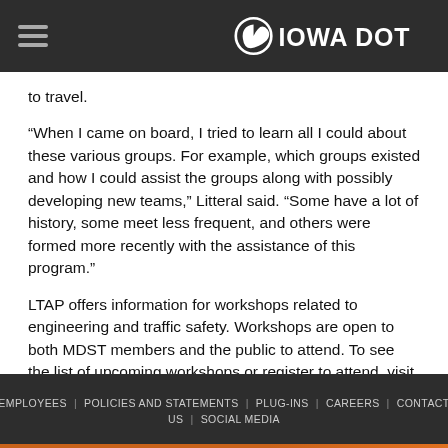Iowa DOT
to travel.
“When I came on board, I tried to learn all I could about these various groups. For example, which groups existed and how I could assist the groups along with possibly developing new teams,” Litteral said. “Some have a lot of history, some meet less frequent, and others were formed more recently with the assistance of this program.”
LTAP offers information for workshops related to engineering and traffic safety. Workshops are open to both MDST members and the public to attend. To see the list of upcoming workshops or register to attend, visit the LTAP website. LTAP also provides the MDST teams with technical reports, research documents, and traffic safety assessments. This approach will improve communication on technical transportation issues among
EMPLOYEES | POLICIES AND STATEMENTS | PLUG-INS | CAREERS | CONTACT US | SOCIAL MEDIA